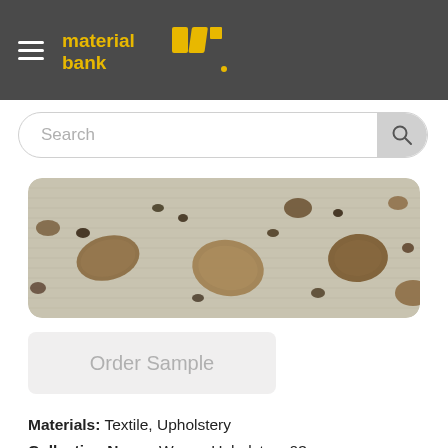material bank
Search
[Figure (photo): Close-up photo of a woven upholstery textile fabric with a light beige/linen background and scattered brown pebble-like shapes printed or woven into the pattern.]
Order Sample
Materials: Textile, Upholstery
Collection Name: Woven Upholstery 03
SKU: MASS 5783
Residential Use
Commercial Use